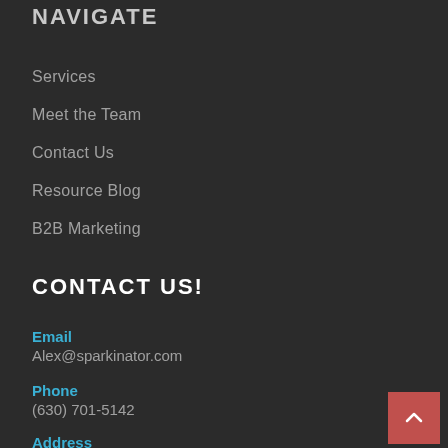NAVIGATE
Services
Meet the Team
Contact Us
Resource Blog
B2B Marketing
CONTACT US!
Email
Alex@sparkinator.com
Phone
(630) 701-5142
Address